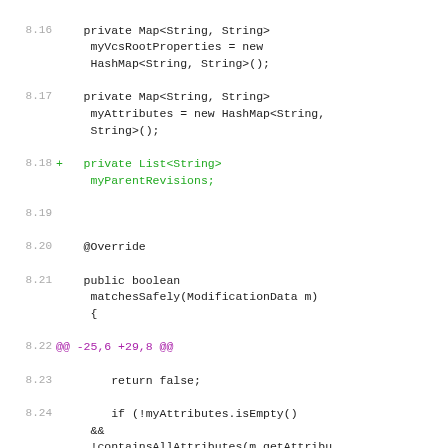[Figure (screenshot): Code diff view showing Java source lines 8.16 through 8.32 with line numbers in gray, added lines marked with '+' and highlighted in green, diff hunk headers in purple, and regular code in dark/black monospace font.]